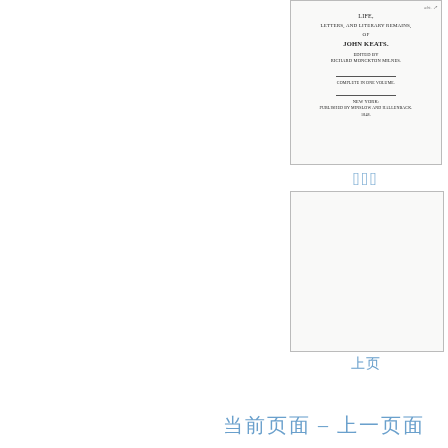[Figure (other): Scanned book cover page for 'Life, Letters, and Literary Remains of John Keats' edited by Richard Monckton Milnes, with handwritten annotation in top right. Small bordered thumbnail of the title page.]
缩略图
[Figure (other): Blank white page thumbnail with border.]
上页
当前页面 - 上一页面